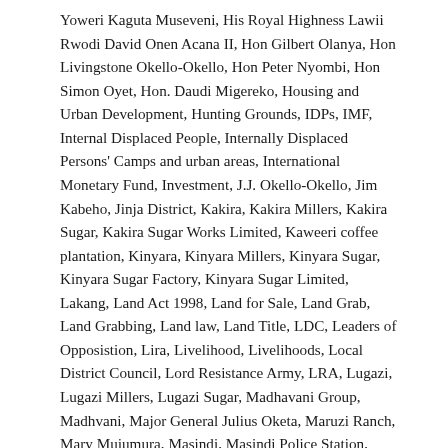Yoweri Kaguta Museveni, His Royal Highness Lawii Rwodi David Onen Acana II, Hon Gilbert Olanya, Hon Livingstone Okello-Okello, Hon Peter Nyombi, Hon Simon Oyet, Hon. Daudi Migereko, Housing and Urban Development, Hunting Grounds, IDPs, IMF, Internal Displaced People, Internally Displaced Persons' Camps and urban areas, International Monetary Fund, Investment, J.J. Okello-Okello, Jim Kabeho, Jinja District, Kakira, Kakira Millers, Kakira Sugar, Kakira Sugar Works Limited, Kaweeri coffee plantation, Kinyara, Kinyara Millers, Kinyara Sugar, Kinyara Sugar Factory, Kinyara Sugar Limited, Lakang, Land Act 1998, Land for Sale, Land Grab, Land Grabbing, Land law, Land Title, LDC, Leaders of Opposistion, Lira, Livelihood, Livelihoods, Local District Council, Lord Resistance Army, LRA, Lugazi, Lugazi Millers, Lugazi Sugar, Madhavani Group, Madhvani, Major General Julius Oketa, Maruzi Ranch, Mary Mujumura, Masindi, Masindi Police Station, Ministry of Trade Industry and Cooperatives, Minster of Land, Moses Byaruhanga, NAPE, National Resistance Army, National Resistance Movement, Natural